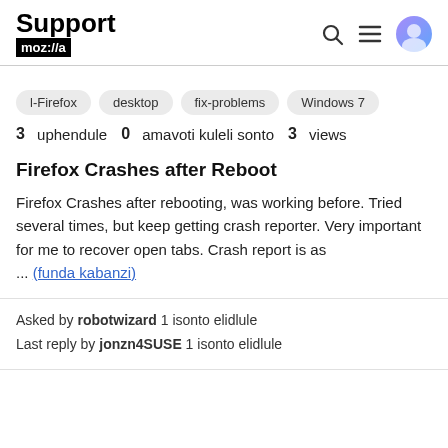Support mozilla // a
l-Firefox
desktop
fix-problems
Windows 7
3 uphendule 0 amavoti kuleli sonto 3 views
Firefox Crashes after Reboot
Firefox Crashes after rebooting, was working before. Tried several times, but keep getting crash reporter. Very important for me to recover open tabs. Crash report is as ... (funda kabanzi)
Asked by robotwizard 1 isonto elidlule
Last reply by jonzn4SUSE 1 isonto elidlule